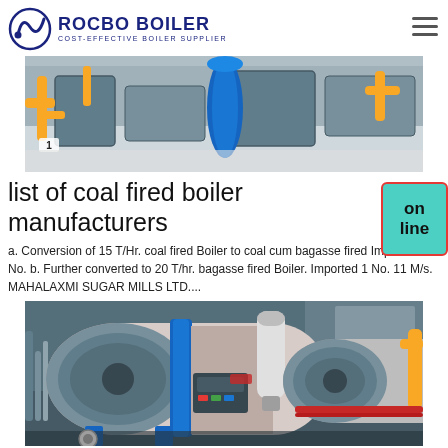ROCBO BOILER — COST-EFFECTIVE BOILER SUPPLIER
[Figure (photo): Industrial boiler equipment with yellow pipes and blue cylinders in a factory setting]
list of coal fired boiler manufacturers
a. Conversion of 15 T/Hr. coal fired Boiler to coal cum bagasse fired Imported 1 No. b. Further converted to 20 T/hr. bagasse fired Boiler. Imported 1 No. 11 M/s. MAHALAXMI SUGAR MILLS LTD....
[Figure (photo): Two industrial gas/oil fired boilers in a factory — large horizontal cylindrical boilers with blue front rings, control panels, and associated piping]